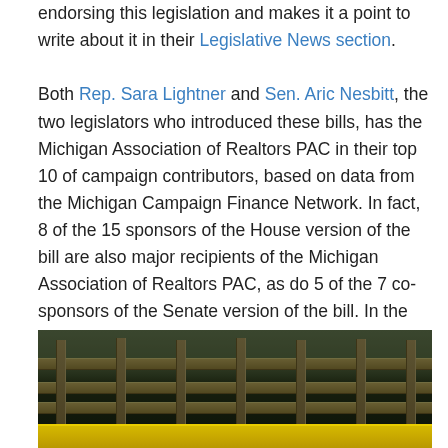endorsing this legislation and makes it a point to write about it in their Legislative News section.

Both Rep. Sara Lightner and Sen. Aric Nesbitt, the two legislators who introduced these bills, has the Michigan Association of Realtors PAC in their top 10 of campaign contributors, based on data from the Michigan Campaign Finance Network. In fact, 8 of the 15 sponsors of the House version of the bill are also major recipients of the Michigan Association of Realtors PAC, as do 5 of the 7 co-sponsors of the Senate version of the bill. In the end, one should always follow the money when it comes to public policy.
[Figure (photo): A photograph showing a deteriorated wooden structure with fence posts and rails, with yellow construction barrier at the bottom and dark vegetation/trees in the background.]